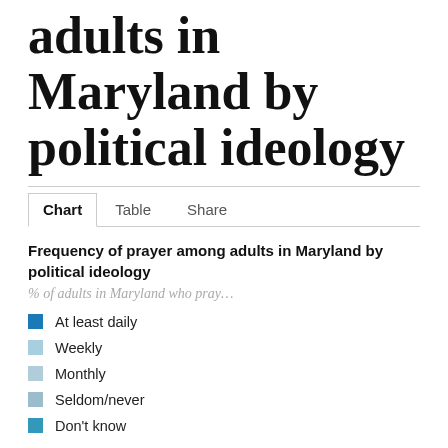adults in Maryland by political ideology
Chart   Table   Share
Frequency of prayer among adults in Maryland by political ideology
% of adults in Maryland who pray…
At least daily
Weekly
Monthly
Seldom/never
Don't know